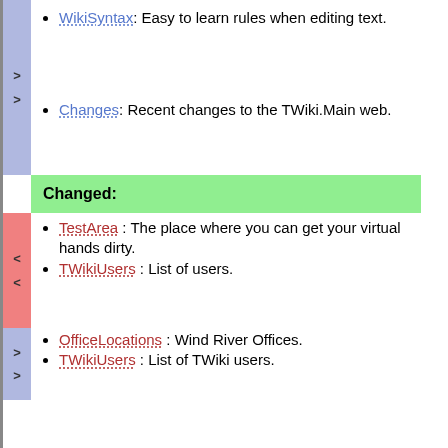WikiSyntax: Easy to learn rules when editing text.
Changes: Recent changes to the TWiki.Main web.
Changed:
TestArea : The place where you can get your virtual hands dirty.
TWikiUsers : List of users.
OfficeLocations : Wind River Offices.
TWikiUsers : List of TWiki users.
TWikiRegistration: Before you leave add your name here.
Deleted:
-- PeterThoeny - 13 Jun 1999